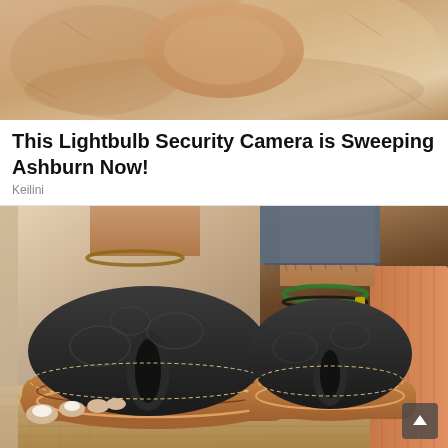[Figure (photo): Close-up photo of a foot/sandal against a sandy/stone textured background]
This Lightbulb Security Camera is Sweeping Ashburn Now!
Keilini
[Figure (photo): Photo of two feet wearing black embossed thong sandals with copper/tan soles; one foot has a green beaded anklet; denim jeans in background; woven mat surface]
The Sandals for Standing All Day Without